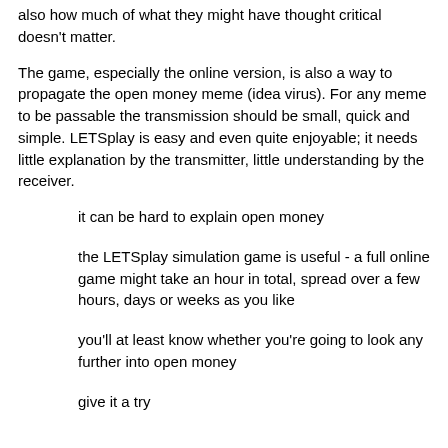also how much of what they might have thought critical doesn't matter.
The game, especially the online version, is also a way to propagate the open money meme (idea virus). For any meme to be passable the transmission should be small, quick and simple. LETSplay is easy and even quite enjoyable; it needs little explanation by the transmitter, little understanding by the receiver.
it can be hard to explain open money
the LETSplay simulation game is useful - a full online game might take an hour in total, spread over a few hours, days or weeks as you like
you'll at least know whether you're going to look any further into open money
give it a try